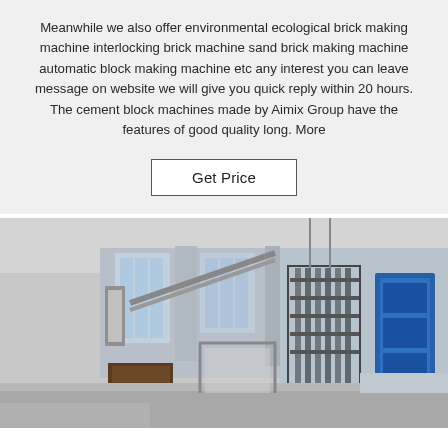Meanwhile we also offer environmental ecological brick making machine interlocking brick machine sand brick making machine automatic block making machine etc any interest you can leave message on website we will give you quick reply within 20 hours. The cement block machines made by Aimix Group have the features of good quality long. More
Get Price
[Figure (photo): Interior of a factory or workshop showing industrial brick/block making machinery with metal frames, conveyor systems, and blue equipment panels visible in the background.]